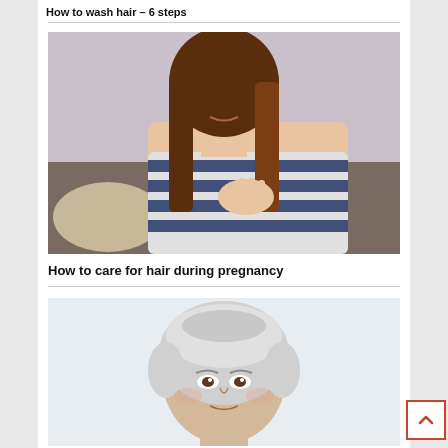How to wash hair – 6 steps
[Figure (photo): Woman in striped top touching her throat, appearing to experience discomfort, seated on a sofa]
How to care for hair during pregnancy
[Figure (photo): Elderly woman with short silver/white hair, close-up portrait against light background]